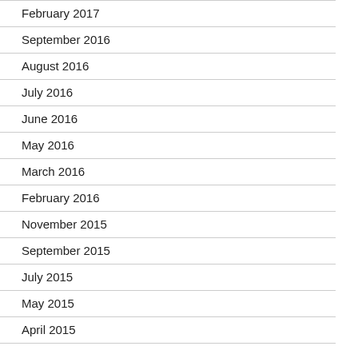February 2017
September 2016
August 2016
July 2016
June 2016
May 2016
March 2016
February 2016
November 2015
September 2015
July 2015
May 2015
April 2015